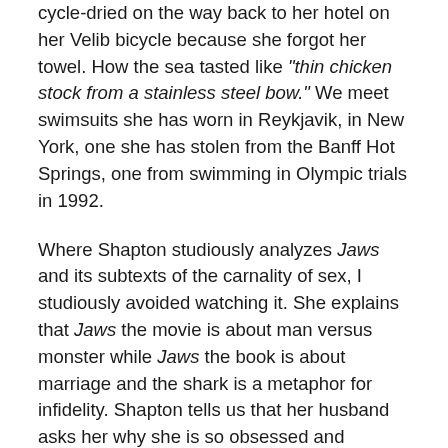cycle-dried on the way back to her hotel on her Velib bicycle because she forgot her towel. How the sea tasted like "thin chicken stock from a stainless steel bow." We meet swimsuits she has worn in Reykjavik, in New York, one she has stolen from the Banff Hot Springs, one from swimming in Olympic trials in 1992.
Where Shapton studiously analyzes Jaws and its subtexts of the carnality of sex, I studiously avoided watching it. She explains that Jaws the movie is about man versus monster while Jaws the book is about marriage and the shark is a metaphor for infidelity. Shapton tells us that her husband asks her why she is so obsessed and frightened by sharks. She does some nifty psychoanalysis and reckons that sharks represent the unknown, the darkness just below the surface, violence, loneliness—her own vulnerability in other words. I love some good